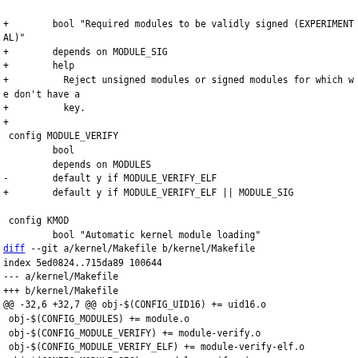+        bool "Required modules to be validly signed (EXPERIMENTAL)"
+        depends on MODULE_SIG
+        help
+          Reject unsigned modules or signed modules for which we don't have a
+          key.
+
 config MODULE_VERIFY
         bool
         depends on MODULES
-        default y if MODULE_VERIFY_ELF
+        default y if MODULE_VERIFY_ELF || MODULE_SIG

 config KMOD
         bool "Automatic kernel module loading"
diff --git a/kernel/Makefile b/kernel/Makefile
index 5ed0824..715da89 100644
--- a/kernel/Makefile
+++ b/kernel/Makefile
@@ -32,6 +32,7 @@ obj-$(CONFIG_UID16) += uid16.o
 obj-$(CONFIG_MODULES) += module.o
 obj-$(CONFIG_MODULE_VERIFY) += module-verify.o
 obj-$(CONFIG_MODULE_VERIFY_ELF) += module-verify-elf.o
+obj-$(CONFIG_MODULE_SIG) += module-verify-sig.o
 obj-$(CONFIG_KALLSYMS) += kallsyms.o
 obj-$(CONFIG_PM) += power/
 obj-$(CONFIG_BSD_PROCESS_ACCT) += acct.o
diff --git a/kernel/module-verify-sig.c b/kernel/module-verify-sig.c